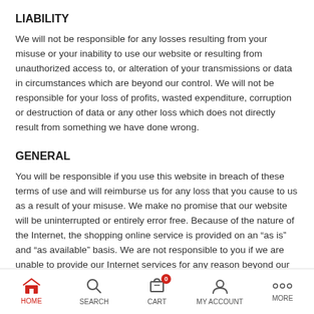LIABILITY
We will not be responsible for any losses resulting from your misuse or your inability to use our website or resulting from unauthorized access to, or alteration of your transmissions or data in circumstances which are beyond our control. We will not be responsible for your loss of profits, wasted expenditure, corruption or destruction of data or any other loss which does not directly result from something we have done wrong.
GENERAL
You will be responsible if you use this website in breach of these terms of use and will reimburse us for any loss that you cause to us as a result of your misuse. We make no promise that our website will be uninterrupted or entirely error free. Because of the nature of the Internet, the shopping online service is provided on an “as is” and “as available” basis. We are not responsible to you if we are unable to provide our Internet services for any reason beyond our control.
All rights in the designs and information on our website are owned by us. Copyright, trademarks and other intellectual property rights protect them. You may view, copy and print portions of our website for the sole purpose of placing an order with us. The materials on our website may not be used for any other purpose. We will use the information that you provide and the records of items buy to constantly monitor and improve our service and for marketing purposes in accordance with our Privacy Policy. Our continuing to offer other services within the same under our Privacy Policy...
HOME  SEARCH  CART  MY ACCOUNT  MORE